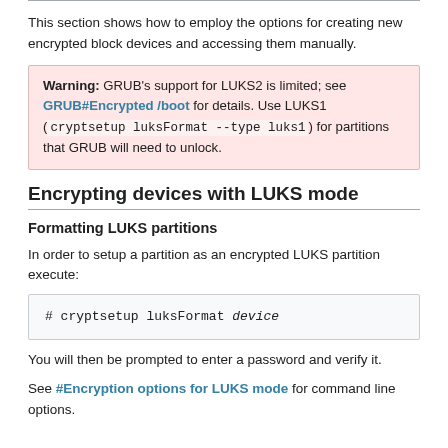This section shows how to employ the options for creating new encrypted block devices and accessing them manually.
Warning: GRUB's support for LUKS2 is limited; see GRUB#Encrypted /boot for details. Use LUKS1 ( cryptsetup luksFormat --type luks1 ) for partitions that GRUB will need to unlock.
Encrypting devices with LUKS mode
Formatting LUKS partitions
In order to setup a partition as an encrypted LUKS partition execute:
# cryptsetup luksFormat device
You will then be prompted to enter a password and verify it.
See #Encryption options for LUKS mode for command line options.